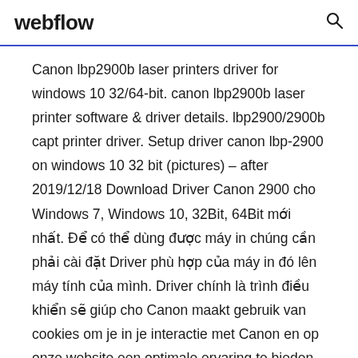webflow
Canon lbp2900b laser printers driver for windows 10 32/64-bit. canon lbp2900b laser printer software & driver details. lbp2900/2900b capt printer driver. Setup driver canon lbp-2900 on windows 10 32 bit (pictures) – after 2019/12/18 Download Driver Canon 2900 cho Windows 7, Windows 10, 32Bit, 64Bit mới nhất. Để có thể dùng được máy in chúng cần phải cài đặt Driver phù hợp của máy in đó lên máy tính của mình. Driver chính là trình điều khiển sẽ giúp cho Canon maakt gebruik van cookies om je in je interactie met Canon en op onze website een optimale ervaring te bieden. Meer informatie over ons gebruik van cookies en het wijzigen van je